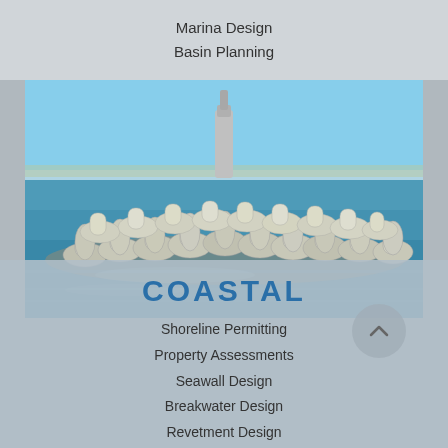Marina Design
Basin Planning
[Figure (photo): Coastal breakwater made of dolos or tetrapod concrete armor units extending into blue sea water, with a lighthouse/tower visible in the background and coastline on the horizon.]
COASTAL
Shoreline Permitting
Property Assessments
Seawall Design
Breakwater Design
Revetment Design